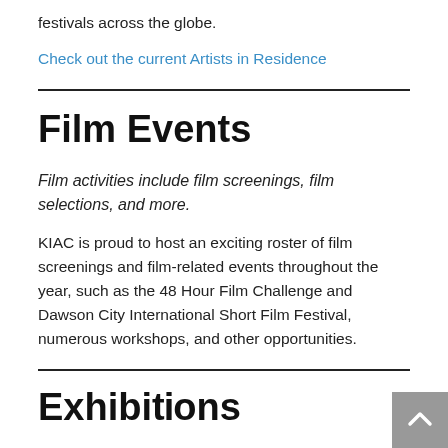festivals across the globe.
Check out the current Artists in Residence
Film Events
Film activities include film screenings, film selections, and more.
KIAC is proud to host an exciting roster of film screenings and film-related events throughout the year, such as the 48 Hour Film Challenge and Dawson City International Short Film Festival, numerous workshops, and other opportunities.
Exhibitions